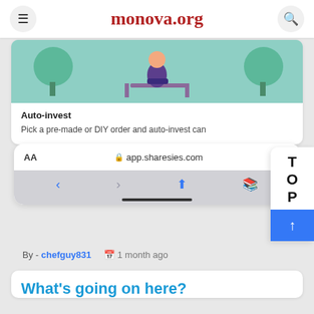monova.org
[Figure (illustration): Illustration of a person sitting on a bench with trees in a teal/mint colored background]
Auto-invest
Pick a pre-made or DIY order and auto-invest can
[Figure (screenshot): Mobile browser bar showing app.sharesies.com with navigation icons and a TOP scroll button]
By - chefguy831   1 month ago
What's going on here?